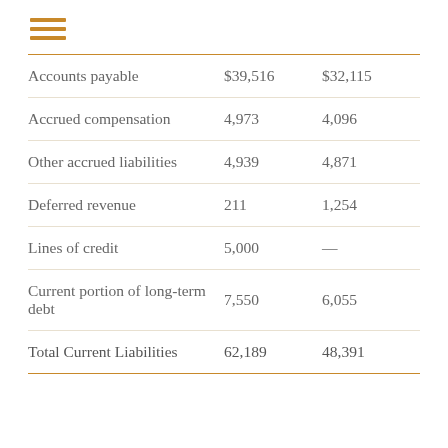[Figure (other): Three horizontal orange lines forming a hamburger/menu icon]
|  | Col1 | Col2 |
| --- | --- | --- |
| Accounts payable | $39,516 | $32,115 |
| Accrued compensation | 4,973 | 4,096 |
| Other accrued liabilities | 4,939 | 4,871 |
| Deferred revenue | 211 | 1,254 |
| Lines of credit | 5,000 | — |
| Current portion of long-term debt | 7,550 | 6,055 |
| Total Current Liabilities | 62,189 | 48,391 |